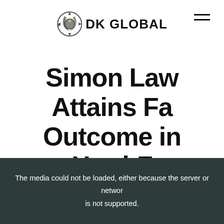[Figure (logo): DK Global logo with gear/compass icon and text 'DK GLOBAL']
Simon Law Attains Favorable Outcome in Hard-Fought Liability Case
The media could not be loaded, either because the server or network is not supported.